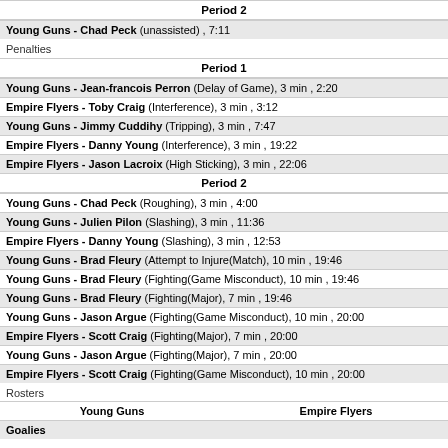Period 2
Young Guns - Chad Peck (unassisted) , 7:11
Penalties
Period 1
Young Guns - Jean-francois Perron (Delay of Game), 3 min , 2:20
Empire Flyers - Toby Craig (Interference), 3 min , 3:12
Young Guns - Jimmy Cuddihy (Tripping), 3 min , 7:47
Empire Flyers - Danny Young (Interference), 3 min , 19:22
Empire Flyers - Jason Lacroix (High Sticking), 3 min , 22:06
Period 2
Young Guns - Chad Peck (Roughing), 3 min , 4:00
Young Guns - Julien Pilon (Slashing), 3 min , 11:36
Empire Flyers - Danny Young (Slashing), 3 min , 12:53
Young Guns - Brad Fleury (Attempt to Injure(Match), 10 min , 19:46
Young Guns - Brad Fleury (Fighting(Game Misconduct), 10 min , 19:46
Young Guns - Brad Fleury (Fighting(Major), 7 min , 19:46
Young Guns - Jason Argue (Fighting(Game Misconduct), 10 min , 20:00
Empire Flyers - Scott Craig (Fighting(Major), 7 min , 20:00
Young Guns - Jason Argue (Fighting(Major), 7 min , 20:00
Empire Flyers - Scott Craig (Fighting(Game Misconduct), 10 min , 20:00
Rosters
| Young Guns | Empire Flyers |
| --- | --- |
| Goalies |  |